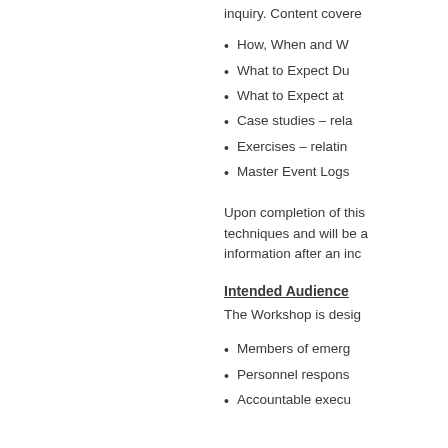inquiry. Content covered
How, When and W
What to Expect Du
What to Expect at
Case studies – rela
Exercises – relatin
Master Event Logs
Upon completion of this techniques and will be a information after an inc
Intended Audience
The Workshop is desig
Members of emerg
Personnel respons
Accountable execu